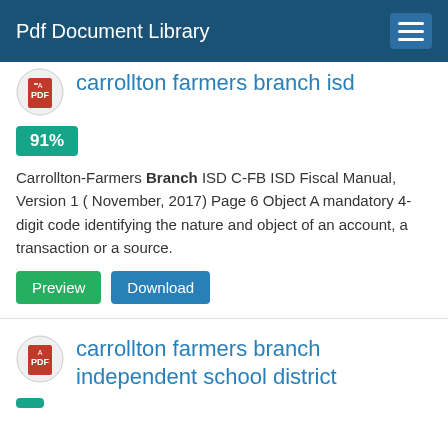Pdf Document Library
carrollton farmers branch isd
91%
Carrollton-Farmers Branch ISD C-FB ISD Fiscal Manual, Version 1 ( November, 2017) Page 6 Object A mandatory 4-digit code identifying the nature and object of an account, a transaction or a source.
Preview   Download
carrollton farmers branch independent school district